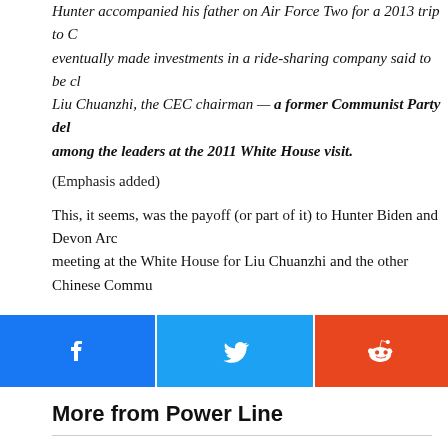Hunter accompanied his father on Air Force Two for a 2013 trip to C... eventually made investments in a ride-sharing company said to be cl... Liu Chuanzhi, the CEC chairman — a former Communist Party del... among the leaders at the 2011 White House visit.
(Emphasis added)
This, it seems, was the payoff (or part of it) to Hunter Biden and Devon Arch... meeting at the White House for Liu Chuanzhi and the other Chinese Commu...
[Figure (other): Social share buttons: Facebook (blue), Twitter (light blue), Reddit (orange-red)]
More from Power Line
POWER LINE'S LEXICON OF LEFTIST TERMS, UPDATE 2
THE GEEK IN PICTURES: DATA DUMP EDITION
WHAT CLIMATE CRISIS?
"EXTREMELY PROUD," BUT KEEP IT QUIET